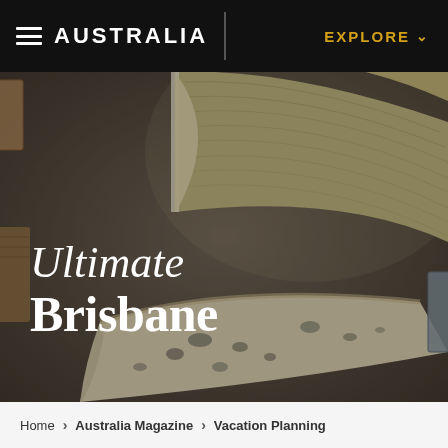☰ AUSTRALIA    |    EXPLORE ∨
[Figure (photo): Overhead shot of artisan cheese wheels and wedges on a dark grey stone surface, including a brie-style wheel cut in half showing interior and a blue cheese wedge cut showing mould veining, with wooden boards and additional cheese blocks around the edges.]
Ultimate Brisbane
Home › Australia Magazine › Vacation Planning